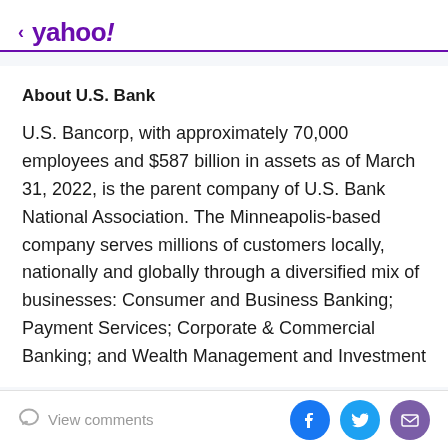< yahoo!
About U.S. Bank
U.S. Bancorp, with approximately 70,000 employees and $587 billion in assets as of March 31, 2022, is the parent company of U.S. Bank National Association. The Minneapolis-based company serves millions of customers locally, nationally and globally through a diversified mix of businesses: Consumer and Business Banking; Payment Services; Corporate & Commercial Banking; and Wealth Management and Investment
View comments